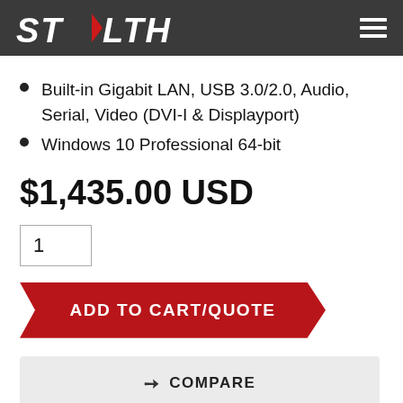STEALTH
Built-in Gigabit LAN, USB 3.0/2.0, Audio, Serial, Video (DVI-I & Displayport)
Windows 10 Professional 64-bit
$1,435.00 USD
1
ADD TO CART/QUOTE
COMPARE